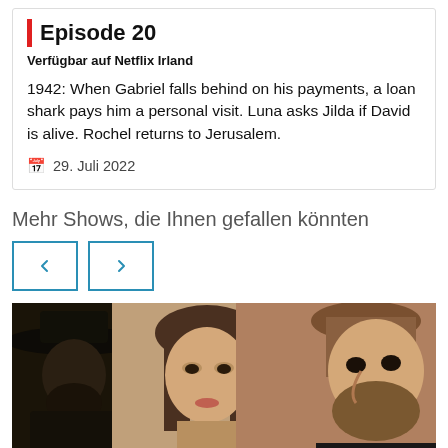Episode 20
Verfügbar auf Netflix Irland
1942: When Gabriel falls behind on his payments, a loan shark pays him a personal visit. Luna asks Jilda if David is alive. Rochel returns to Jerusalem.
29. Juli 2022
Mehr Shows, die Ihnen gefallen könnten
[Figure (other): Navigation previous/next arrow buttons with teal border]
[Figure (photo): Photo of three people in period costume: a person in a wide-brimmed black hat on the left, a woman with long hair in the center, and a bearded man on the right, appearing to be from a historical drama series]